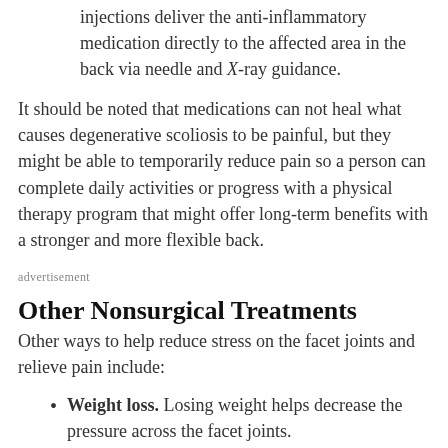injections deliver the anti-inflammatory medication directly to the affected area in the back via needle and X-ray guidance.
It should be noted that medications can not heal what causes degenerative scoliosis to be painful, but they might be able to temporarily reduce pain so a person can complete daily activities or progress with a physical therapy program that might offer long-term benefits with a stronger and more flexible back.
advertisement
Other Nonsurgical Treatments
Other ways to help reduce stress on the facet joints and relieve pain include:
Weight loss. Losing weight helps decrease the pressure across the facet joints.